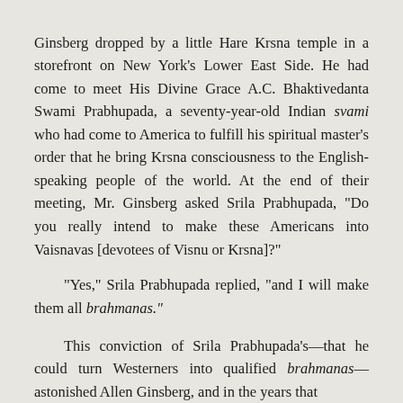Ginsberg dropped by a little Hare Krsna temple in a storefront on New York's Lower East Side. He had come to meet His Divine Grace A.C. Bhaktivedanta Swami Prabhupada, a seventy-year-old Indian svami who had come to America to fulfill his spiritual master's order that he bring Krsna consciousness to the English- speaking people of the world. At the end of their meeting, Mr. Ginsberg asked Srila Prabhupada, “Do you really intend to make these Americans into Vaisnavas [devotees of Visnu or Krsna]?”
“Yes,” Srila Prabhupada replied, “and I will make them all brahmanas.”
This conviction of Srila Prabhupada’s—that he could turn Westerners into qualified brahmanas—astonished Allen Ginsberg, and in the years that